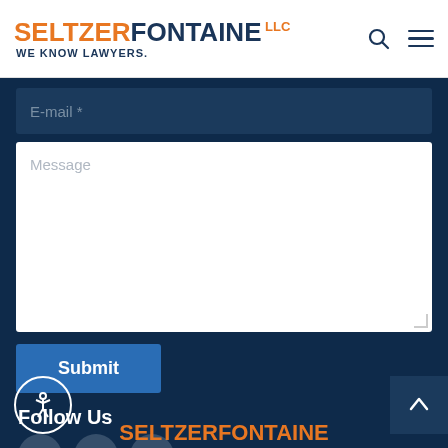SeltzerFontaine LLC — We Know Lawyers.
E-mail *
Message
Submit
Follow Us
[Figure (infographic): Social media icons: Facebook, Twitter, LinkedIn]
[Figure (infographic): Accessibility icon (person in circle)]
[Figure (infographic): Back to top arrow button]
SeltzerFontaine